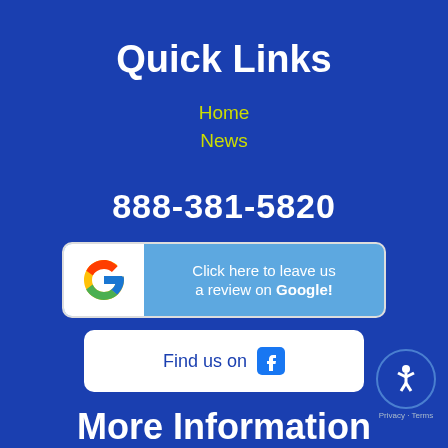Quick Links
Home
News
888-381-5820
[Figure (other): Google review button: Click here to leave us a review on Google!]
[Figure (other): Facebook button: Find us on Facebook]
[Figure (other): Accessibility icon badge with Privacy - Terms label]
More Information